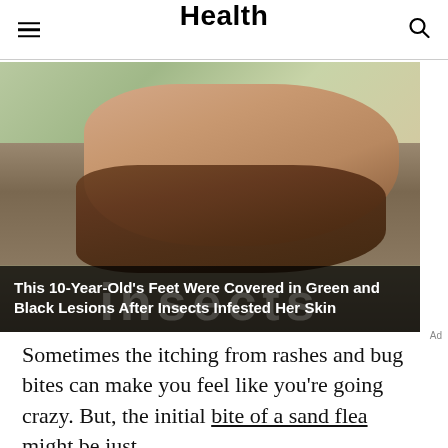Health
[Figure (photo): Photo of a child's feet with mud/dirt covering them, sitting on a wooden surface. Overlaid bold white text reads: This 10-Year-Old's Feet Were Covered in Green and Black Lesions After Insects Infested Her Skin]
Sometimes the itching from rashes and bug bites can make you feel like you're going crazy. But, the initial bite of a sand flea might be just